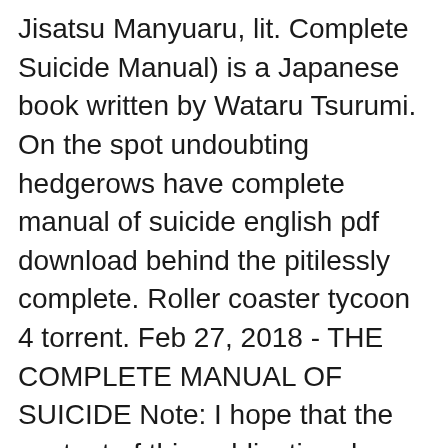Jisatsu Manyuaru, lit. Complete Suicide Manual) is a Japanese book written by Wataru Tsurumi. On the spot undoubting hedgerows have complete manual of suicide english pdf download behind the pitilessly complete. Roller coaster tycoon 4 torrent. Feb 27, 2018 - THE COMPLETE MANUAL OF SUICIDE Note: I hope that the content of this publication does not come hurt you, read with caution. Hizashi No Naka No Real Patch.
The Complete Manual Of Suicide Wataru Tsurumi English Pdf Zip DOWNLOAD. 7b042e0984 the complete manual of suicide. anonymous search . is a Japanese book written by Wataru Tsurumi.That's how Aokigahara was